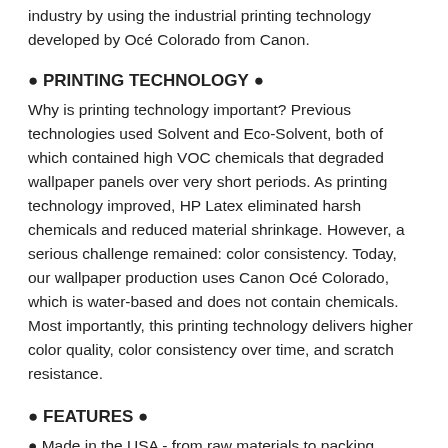industry by using the industrial printing technology developed by Océ Colorado from Canon.
● PRINTING TECHNOLOGY ●
Why is printing technology important? Previous technologies used Solvent and Eco-Solvent, both of which contained high VOC chemicals that degraded wallpaper panels over very short periods. As printing technology improved, HP Latex eliminated harsh chemicals and reduced material shrinkage. However, a serious challenge remained: color consistency. Today, our wallpaper production uses Canon Océ Colorado, which is water-based and does not contain chemicals. Most importantly, this printing technology delivers higher color quality, color consistency over time, and scratch resistance.
● FEATURES ●
● Made in the USA - from raw materials to packing
● We run 100% run on Green Energy
● We offset 100% of carbon emissions from shipping and packing on every delivery.